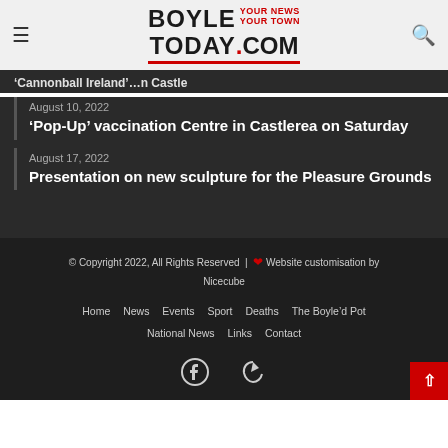BoyleToday.com — YOUR NEWS YOUR TOWN
'Cannonball Ireland' at Rockingham Castle — August 10, 2022 (partial)
August 10, 2022
'Pop-Up' vaccination Centre in Castlerea on Saturday
August 17, 2022
Presentation on new sculpture for the Pleasure Grounds
© Copyright 2022, All Rights Reserved | ❤ Website customisation by Nicecube
Home  News  Events  Sport  Deaths  The Boyle'd Pot  National News  Links  Contact